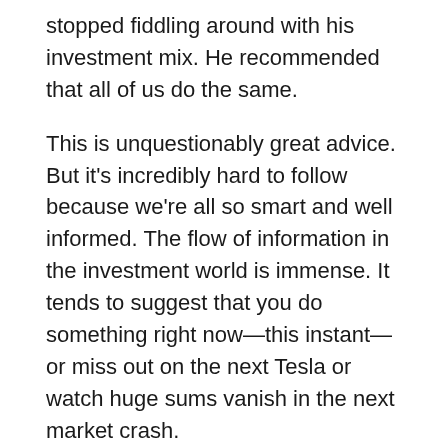stopped fiddling around with his investment mix. He recommended that all of us do the same.
This is unquestionably great advice. But it's incredibly hard to follow because we're all so smart and well informed. The flow of information in the investment world is immense. It tends to suggest that you do something right now—this instant—or miss out on the next Tesla or watch huge sums vanish in the next market crash.
Just sitting there doing nothing has proved to be the smartest move 20 years down the line, providing you own at least some stocks. There's never been a negative 20-year period for U.S. stocks in the last 150 years, Yale economist and